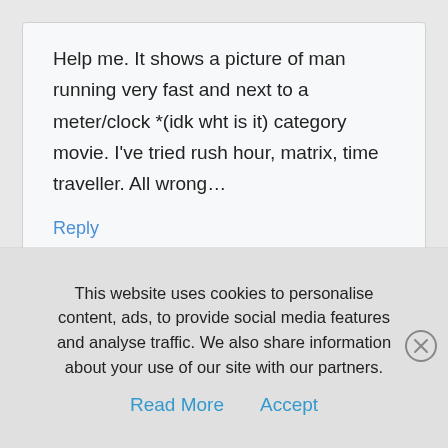Help me. It shows a picture of man running very fast and next to a meter/clock *(idk wht is it) category movie. I've tried rush hour, matrix, time traveller. All wrong…
Reply
tomek
August 20, 2014 at 9:01 pm
This website uses cookies to personalise content, ads, to provide social media features and analyse traffic. We also share information about your use of our site with our partners.
Read More
Accept